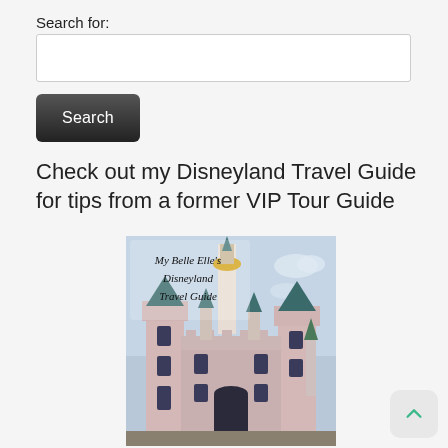Search for:
[Search input box]
Search
Check out my Disneyland Travel Guide for tips from a former VIP Tour Guide
[Figure (photo): My Belle Elle's Disneyland Travel Guide book cover showing Sleeping Beauty Castle at Disneyland with teal/blue turrets and pink walls. Text overlay reads 'My Belle Elle's Disneyland Travel Guide' in script font.]